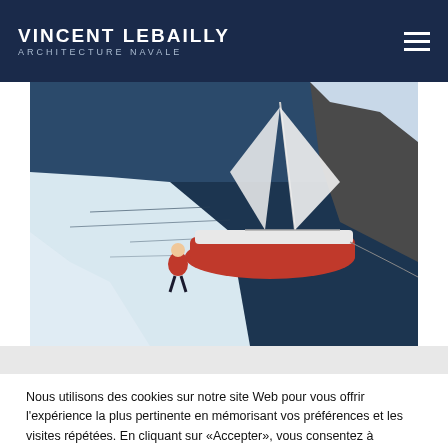VINCENT LEBAILLY ARCHITECTURE NAVALE
[Figure (photo): A person in a red jacket walking on a snowy/icy shoreline next to a red sailing yacht moored in calm dark blue water, with rocky cliffs in the background.]
Nous utilisons des cookies sur notre site Web pour vous offrir l'expérience la plus pertinente en mémorisant vos préférences et les visites répétées. En cliquant sur «Accepter», vous consentez à l'utilisation de tous les cookies.
Accepter   Rejeter